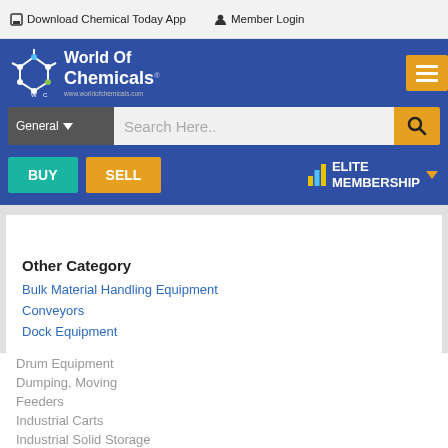Download Chemical Today App   Member Login
[Figure (logo): World Of Chemicals logo with molecule graphic and website www.worldofchemicals.com on blue background]
General  Search Here..
BUY   SELL   ELITE MEMBERSHIP
Other Category
Bulk Material Handling Equipment
Conveyors
Dock Equipment
Drum Equipment
Dumping, Moving
Feeders
Industrial Carts
Industrial Solid Storage
Post your enquiries here for more suppliers of
Post Buy